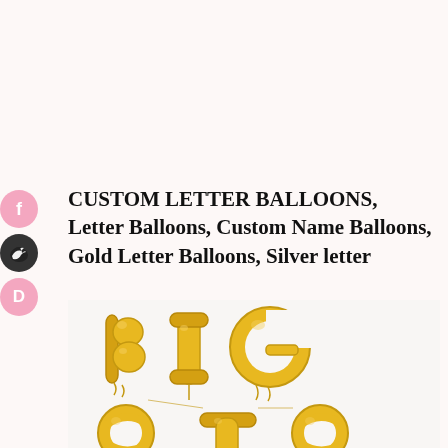CUSTOM LETTER BALLOONS, Letter Balloons, Custom Name Balloons, Gold Letter Balloons, Silver letter
[Figure (photo): Photo of gold foil letter balloons spelling 'BIG SIS' on a white background. The top row shows 'BIG' in large gold metallic balloon letters, and the bottom row shows 'SIS' partially visible at the bottom of the frame.]